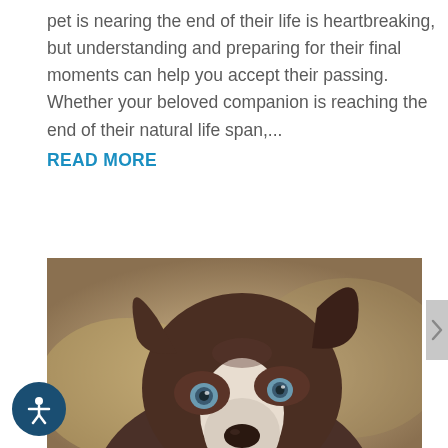pet is nearing the end of their life is heartbreaking, but understanding and preparing for their final moments can help you accept their passing. Whether your beloved companion is reaching the end of their natural life span,...
READ MORE
[Figure (photo): Close-up photo of a brown and white dog (pit bull type) with blue eyes, looking slightly upward. The background is blurred in warm tan/brown tones.]